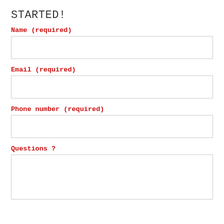STARTED!
Name (required)
[Figure (other): Empty text input field for Name]
Email (required)
[Figure (other): Empty text input field for Email]
Phone number (required)
[Figure (other): Empty text input field for Phone number]
Questions ?
[Figure (other): Empty textarea for Questions]